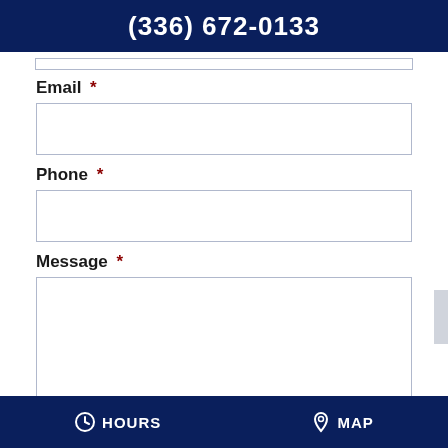(336) 672-0133
Email *
Phone *
Message *
HOURS  MAP